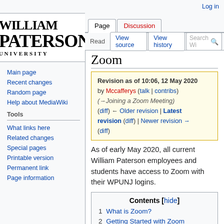Log in
[Figure (logo): William Paterson University logo in black serif text]
Page | Discussion | Read | View source | View history | Search Wi
Zoom
Revision as of 10:06, 12 May 2020 by Mccafferys (talk | contribs) (→Joining a Zoom Meeting) (diff) ← Older revision | Latest revision (diff) | Newer revision → (diff)
As of early May 2020, all current William Paterson employees and students have access to Zoom with their WPUNJ logins.
Main page
Recent changes
Random page
Help about MediaWiki
Tools
What links here
Related changes
Special pages
Printable version
Permanent link
Page information
Contents [hide]
1 What is Zoom?
2 Getting Started with Zoom